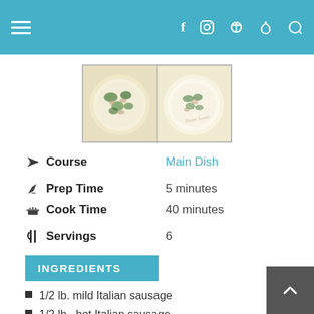≡  f  Instagram  Pinterest  Search
[Figure (photo): Two side-by-side photos of a creamy soup dish with greens (spinach/kale) and sausage in white bowls, seen from above.]
Course   Main Dish
Prep Time   5 minutes
Cook Time   40 minutes
Servings   6
INGREDIENTS
1/2 lb. mild Italian sausage
1/2 lb . hot Italian sausage
1/4 tsp. red pepper flakes